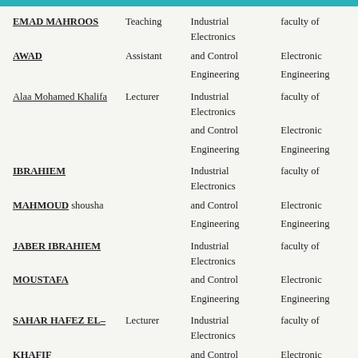| Name | Title | Department | Faculty |
| --- | --- | --- | --- |
| EMAD MAHROOS AWAD | Teaching Assistant | Industrial Electronics and Control Engineering | faculty of Electronic Engineering |
| Alaa Mohamed Khalifa | Lecturer | Industrial Electronics and Control Engineering | faculty of Electronic Engineering |
| IBRAHIEM MAHMOUD shousha |  | Industrial Electronics and Control Engineering | faculty of Electronic Engineering |
| JABER IBRAHIEM MOUSTAFA |  | Industrial Electronics and Control Engineering | faculty of Electronic Engineering |
| SAHAR HAFEZ EL-KHAFIF | Lecturer | Industrial Electronics and Control Engineering | faculty of Electronic Engineering |
| AHMED MOHAMMED | Lecturer | Industrial Electronics and Control Engineering | faculty of Electronic Engineering |